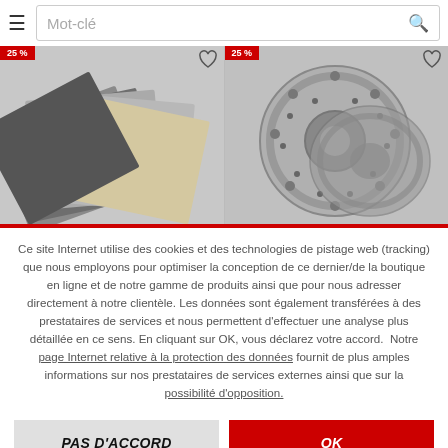Mot-clé
[Figure (screenshot): Product images strip showing sandpaper sheets on the left with a 25% discount badge, and brake discs on the right with a 25% discount badge. Both panels have heart/wishlist icons.]
Ce site Internet utilise des cookies et des technologies de pistage web (tracking) que nous employons pour optimiser la conception de ce dernier/de la boutique en ligne et de notre gamme de produits ainsi que pour nous adresser directement à notre clientèle. Les données sont également transférées à des prestataires de services et nous permettent d'effectuer une analyse plus détaillée en ce sens. En cliquant sur OK, vous déclarez votre accord. Notre page Internet relative à la protection des données fournit de plus amples informations sur nos prestataires de services externes ainsi que sur la possibilité d'opposition.
PAS D'ACCORD
OK